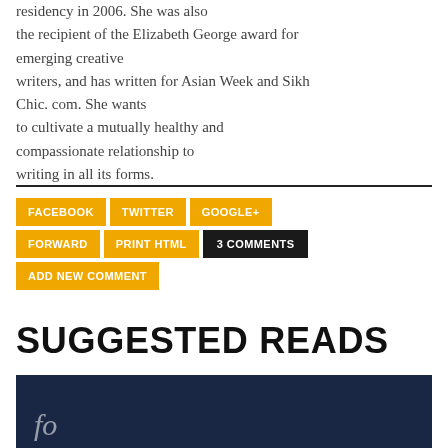residency in 2006. She was also the recipient of the Elizabeth George award for emerging creative writers, and has written for Asian Week and Sikh Chic. com. She wants to cultivate a mutually healthy and compassionate relationship to writing in all its forms.
FACEBOOK  TWITTER  GOOGLE+  FORWARD  PRINT HTML  3 COMMENTS  ADD NEW COMMENT
SUGGESTED READS
[Figure (photo): Dark navy blue image with italic cursive text partially visible, likely a book cover or article image]